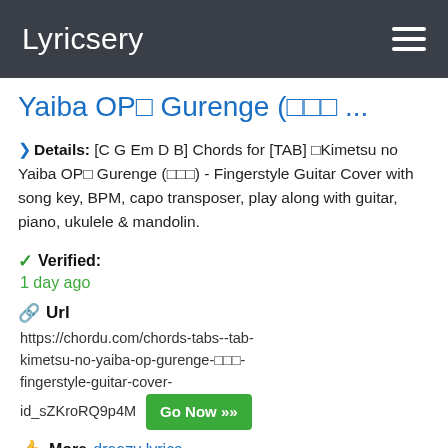Lyricsery
Yaiba OP□ Gurenge (□□□ ...
Details: [C G Em D B] Chords for [TAB] □Kimetsu no Yaiba OP□ Gurenge (□□□) - Fingerstyle Guitar Cover with song key, BPM, capo transposer, play along with guitar, piano, ukulele & mandolin.
Verified:
1 day ago
Url
https://chordu.com/chords-tabs--tab-kimetsu-no-yaiba-op-gurenge-□□□-fingerstyle-guitar-cover-id_sZKroRQ9p4M  Go Now >>
More  dreezy lyrics